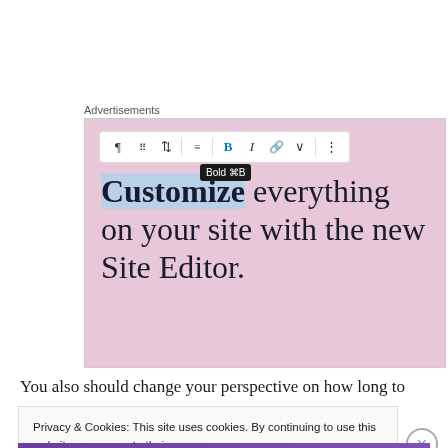Advertisements
[Figure (screenshot): Screenshot of a WordPress block editor interface showing a toolbar with formatting options (Bold highlighted with tooltip 'Bold ⌘B') and a pink background with text: 'Customize everything on your site with the new Site Editor.' The word 'Customize' is highlighted in blue.]
You also should change your perspective on how long to
Privacy & Cookies: This site uses cookies. By continuing to use this website, you agree to their use.
To find out more, including how to control cookies, see here: Cookie Policy
Close and accept